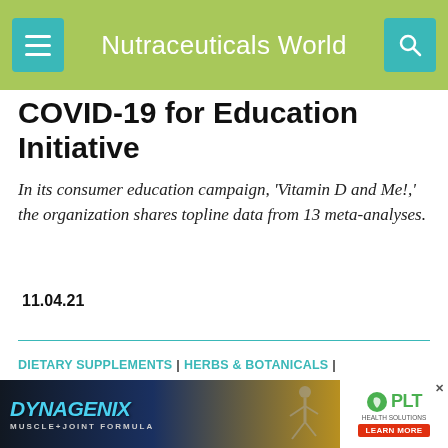Nutraceuticals World
COVID-19 for Education Initiative
In its consumer education campaign, 'Vitamin D and Me!,' the organization shares topline data from 13 meta-analyses.
11.04.21
DIETARY SUPPLEMENTS | HERBS & BOTANICALS | QUALITY & SAFETY | REGULATIONS
[Figure (photo): Green plant (cannabis/hemp) with sunlight, close-up photo]
[Figure (photo): Advertisement banner: Dynagenix Muscle+Joint Formula and PLT Health Solutions Learn More]